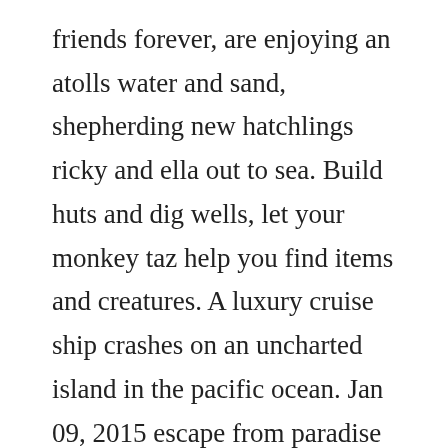friends forever, are enjoying an atolls water and sand, shepherding new hatchlings ricky and ella out to sea. Build huts and dig wells, let your monkey taz help you find items and creatures. A luxury cruise ship crashes on an uncharted island in the pacific ocean. Jan 09, 2015 escape from paradise city is a mix of rpg and rts that enables you to be part of such a world, by trying to survive on the streets of a violent and extremely corrupt city. Help the survivors find useful items, participate in activities like fishing and gathering wood, and look for hidden treasure. Hidden from...